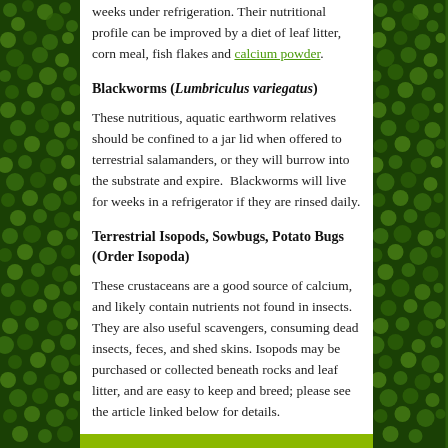weeks under refrigeration. Their nutritional profile can be improved by a diet of leaf litter, corn meal, fish flakes and calcium powder.
Blackworms (Lumbriculus variegatus)
These nutritious, aquatic earthworm relatives should be confined to a jar lid when offered to terrestrial salamanders, or they will burrow into the substrate and expire. Blackworms will live for weeks in a refrigerator if they are rinsed daily.
Terrestrial Isopods, Sowbugs, Potato Bugs (Order Isopoda)
These crustaceans are a good source of calcium, and likely contain nutrients not found in insects. They are also useful scavengers, consuming dead insects, feces, and shed skins. Isopods may be purchased or collected beneath rocks and leaf litter, and are easy to keep and breed; please see the article linked below for details.